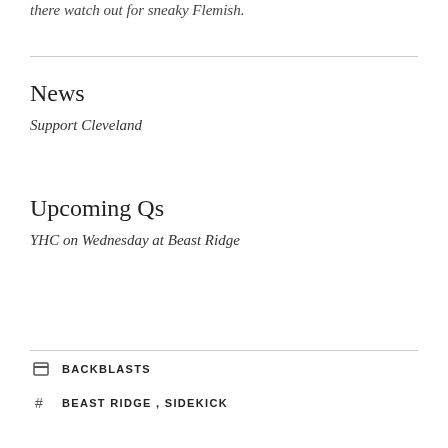there watch out for sneaky Flemish.
News
Support Cleveland
Upcoming Qs
YHC on Wednesday at Beast Ridge
BACKBLASTS
BEAST RIDGE , SIDEKICK